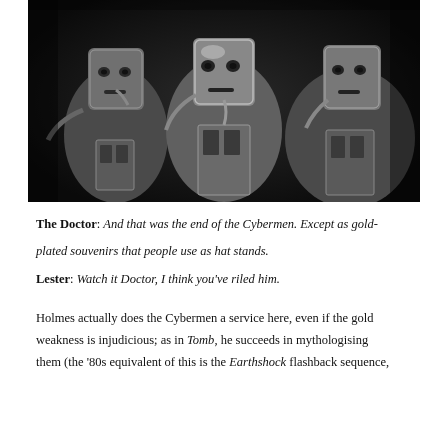[Figure (photo): Black and white photograph of three Cybermen (robotic humanoid characters from Doctor Who), standing side by side, with distinctive cylindrical heads with small eyes and mouths, and chest unit panels with controls. They appear to be in a darkened setting.]
The Doctor: And that was the end of the Cybermen. Except as gold-plated souvenirs that people use as hat stands.
Lester: Watch it Doctor, I think you've riled him.
Holmes actually does the Cybermen a service here, even if the gold weakness is injudicious; as in Tomb, he succeeds in mythologising them (the '80s equivalent of this is the Earthshock flashback sequence,